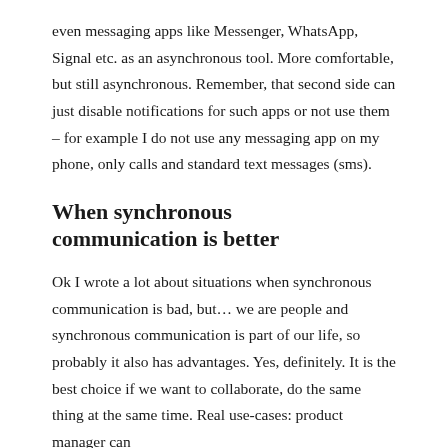even messaging apps like Messenger, WhatsApp, Signal etc. as an asynchronous tool. More comfortable, but still asynchronous. Remember, that second side can just disable notifications for such apps or not use them – for example I do not use any messaging app on my phone, only calls and standard text messages (sms).
When synchronous communication is better
Ok I wrote a lot about situations when synchronous communication is bad, but… we are people and synchronous communication is part of our life, so probably it also has advantages. Yes, definitely. It is the best choice if we want to collaborate, do the same thing at the same time. Real use-cases: product manager can